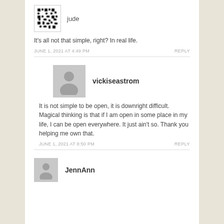[Figure (other): Pixel art avatar for user jude]
jude
It's all not that simple, right? In real life.
JUNE 1, 2021 AT 4:49 PM
REPLY
[Figure (other): Generic person silhouette avatar for vickiseastrom]
vickiseastrom
It is not simple to be open, it is downright difficult. Magical thinking is that if I am open in some place in my life, I can be open everywhere. It just ain't so. Thank you helping me own that.
JUNE 1, 2021 AT 8:50 PM
REPLY
[Figure (other): Generic person silhouette avatar for JennAnn]
JennAnn